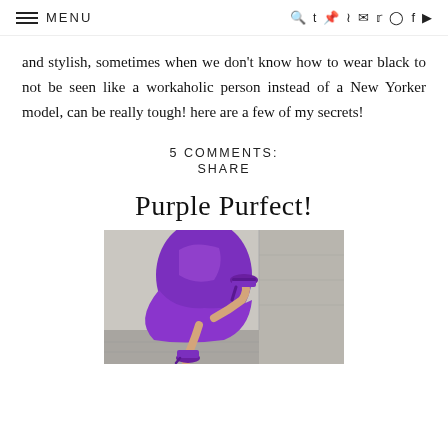MENU
and stylish, sometimes when we don't know how to wear black to not be seen like a workaholic person instead of a New Yorker model, can be really tough! here are a few of my secrets!
5 COMMENTS:
SHARE
Purple Purfect!
[Figure (photo): Woman in purple dress and purple high heels, one leg raised, street photography]